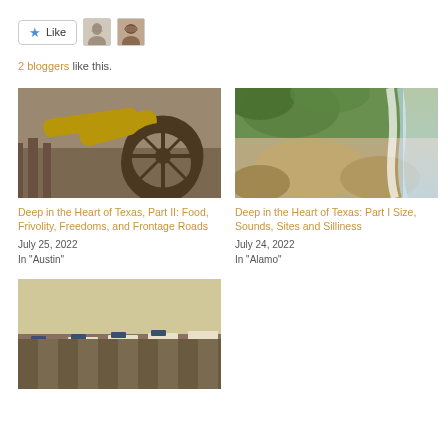[Figure (screenshot): Like button with star icon and two blogger avatars]
2 bloggers like this.
[Figure (photo): Close-up of an old cannon wheel and barrel]
Deep in the Heart of Texas, Part II: Food, Frivolity, Freedoms, and Frontage Roads
July 25, 2022
In "Austin"
[Figure (photo): Waterfall flowing over rocks surrounded by trees]
Deep in the Heart of Texas: Part I Size, Sounds, Sites and Silliness
July 24, 2022
In "Alamo"
[Figure (photo): Empty classroom with rows of desks and chairs]